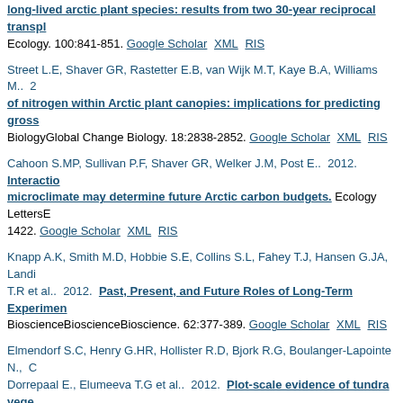long-lived arctic plant species: results from two 30-year reciprocal transplant experiments. Ecology. 100:841-851. Google Scholar XML RIS
Street L.E, Shaver GR, Rastetter E.B, van Wijk M.T, Kaye B.A, Williams M.. 2012. of nitrogen within Arctic plant canopies: implications for predicting gross primary productivity. BiologyGlobal Change Biology. 18:2838-2852. Google Scholar XML RIS
Cahoon S.MP, Sullivan P.F, Shaver GR, Welker J.M, Post E.. 2012. Interactions between plant canopy architecture and microclimate may determine future Arctic carbon budgets. Ecology LettersEcology Letters. 15:1415-1422. Google Scholar XML RIS
Knapp A.K, Smith M.D, Hobbie S.E, Collins S.L, Fahey T.J, Hansen G.JA, Landis et al.. 2012. Past, Present, and Future Roles of Long-Term Experiments in BioscienceBioscienceBioscience. 62:377-389. Google Scholar XML RIS
Elmendorf S.C, Henry G.HR, Hollister R.D, Bjork R.G, Boulanger-Lapointe N., Dorrepaal E., Elumeeva T.G et al.. 2012. Plot-scale evidence of tundra vegetation change and links to recent summer warming. Nature Climate ChangeNature Climate ChangeNature Climate Change. XML RIS
Euskirchen ES, Bret-Harte MS, Scott GJ, Edgar C., Shaver GR. 2012. Seasonal patterns of carbon dioxide and water fluxes in three representative tundra ecosystems in northern Alaska. Ecosystems. Google Scholar XML RIS
2011
Mack M.C, Bret-Harte MS, Hollingsworth T.N, Jandt R.R, Schuur E.AC, Shaver...